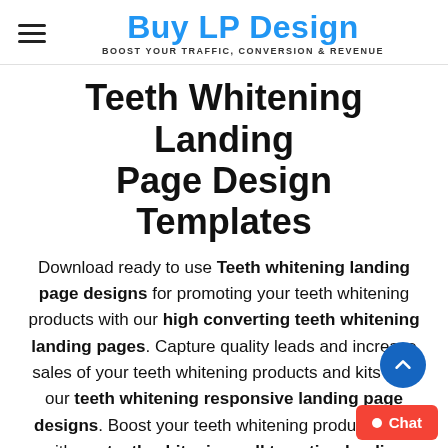Buy LP Design — BOOST YOUR TRAFFIC, CONVERSION & REVENUE
Teeth Whitening Landing Page Design Templates
Download ready to use Teeth whitening landing page designs for promoting your teeth whitening products with our high converting teeth whitening landing pages. Capture quality leads and increase sales of your teeth whitening products and kits with our teeth whitening responsive landing page designs. Boost your teeth whitening product sales with our teeth whitening call to action landing page design.